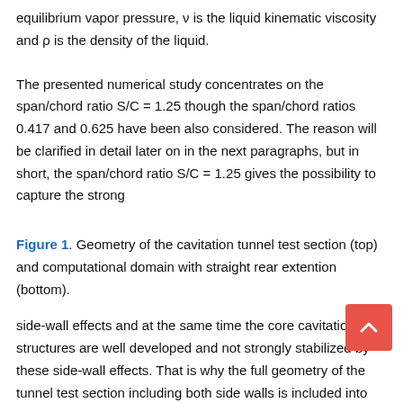equilibrium vapor pressure, ν is the liquid kinematic viscosity and ρ is the density of the liquid.
The presented numerical study concentrates on the span/chord ratio S/C = 1.25 though the span/chord ratios 0.417 and 0.625 have been also considered. The reason will be clarified in detail later on in the next paragraphs, but in short, the span/chord ratio S/C = 1.25 gives the possibility to capture the strong
Figure 1. Geometry of the cavitation tunnel test section (top) and computational domain with straight rear extention (bottom).
side-wall effects and at the same time the core cavitation structures are well developed and not strongly stabilized by these side-wall effects. That is why the full geometry of the tunnel test section including both side walls is included into the computational domain. This paper does not focus on the details of the experiment and